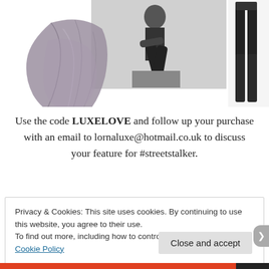[Figure (photo): Product lifestyle photo: grey/mauve fringe scarf on white background (left), black-and-white photo of woman sitting on box wearing dark outfit (center), black leather-look pants on white background (right)]
Use the code LUXELOVE and follow up your purchase with an email to lornaluxe@hotmail.co.uk to discuss your feature for #streetstalker.
Privacy & Cookies: This site uses cookies. By continuing to use this website, you agree to their use.
To find out more, including how to control cookies, see here: Cookie Policy
Close and accept